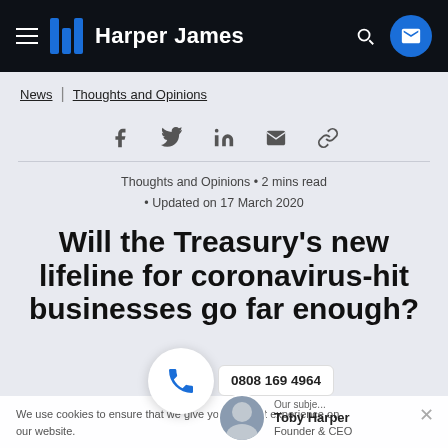Harper James
News | Thoughts and Opinions
[Figure (infographic): Social share icons: Facebook, Twitter, LinkedIn, Email, Link]
Thoughts and Opinions • 2 mins read • Updated on 17 March 2020
Will the Treasury's new lifeline for coronavirus-hit businesses go far enough?
We use cookies to ensure that we give you the best experience on our website.
Our subject: Toby Harper, Founder & CEO
0808 169 4964